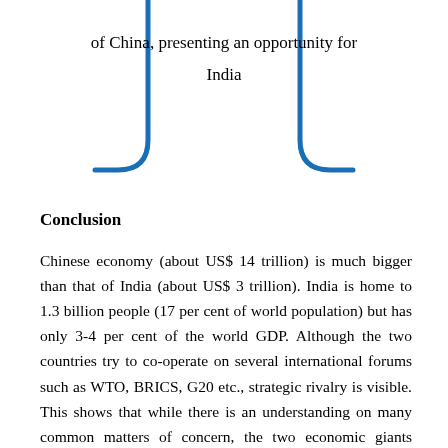[Figure (illustration): Closing quotation bracket decoration in blue, showing bottom portion of a large quotation block with the text 'of China, presenting an opportunity for India' centered inside stylized blue bracket marks on left and right.]
of China, presenting an opportunity for India
Conclusion
Chinese economy (about US$ 14 trillion) is much bigger than that of India (about US$ 3 trillion). India is home to 1.3 billion people (17 per cent of world population) but has only 3-4 per cent of the world GDP. Although the two countries try to co-operate on several international forums such as WTO, BRICS, G20 etc., strategic rivalry is visible. This shows that while there is an understanding on many common matters of concern, the two economic giants sharing a common boundary and geopolitical